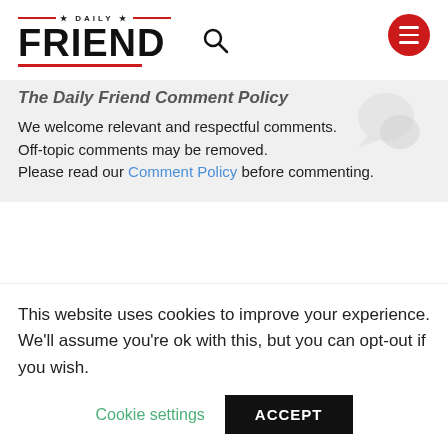[Figure (logo): Daily Friend newspaper logo with red underline and search icon]
The Daily Friend Comment Policy
We welcome relevant and respectful comments. Off-topic comments may be removed. Please read our Comment Policy before commenting.
Comments   Community   🔒   1   Login ▾
♡ Favorite   Sort by Best ▾
This website uses cookies to improve your experience. We'll assume you're ok with this, but you can opt-out if you wish.
Cookie settings   ACCEPT